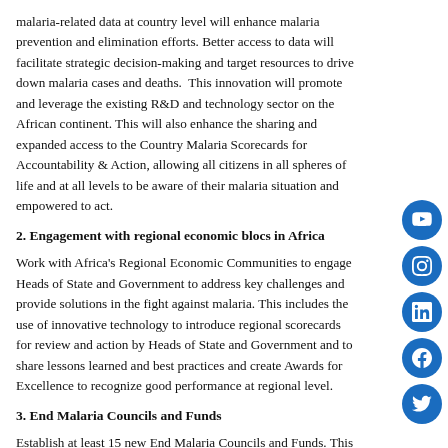malaria-related data at country level will enhance malaria prevention and elimination efforts. Better access to data will facilitate strategic decision-making and target resources to drive down malaria cases and deaths. This innovation will promote and leverage the existing R&D and technology sector on the African continent. This will also enhance the sharing and expanded access to the Country Malaria Scorecards for Accountability & Action, allowing all citizens in all spheres of life and at all levels to be aware of their malaria situation and empowered to act.
2. Engagement with regional economic blocs in Africa
Work with Africa's Regional Economic Communities to engage Heads of State and Government to address key challenges and provide solutions in the fight against malaria. This includes the use of innovative technology to introduce regional scorecards for review and action by Heads of State and Government and to share lessons learned and best practices and create Awards for Excellence to recognize good performance at regional level.
3. End Malaria Councils and Funds
Establish at least 15 new End Malaria Councils and Funds. This